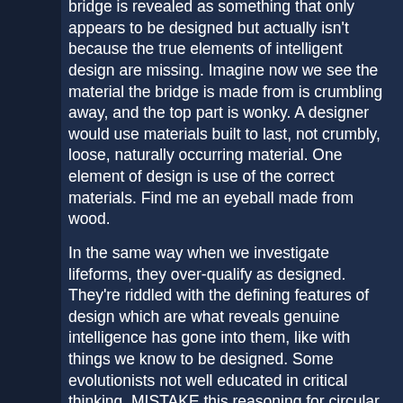bridge is revealed as something that only appears to be designed but actually isn't because the true elements of intelligent design are missing. Imagine now we see the material the bridge is made from is crumbling away, and the top part is wonky. A designer would use materials built to last, not crumbly, loose, naturally occurring material. One element of design is use of the correct materials. Find me an eyeball made from wood.
In the same way when we investigate lifeforms, they over-qualify as designed. They're riddled with the defining features of design which are what reveals genuine intelligence has gone into them, like with things we know to be designed. Some evolutionists not well educated in critical thinking, MISTAKE this reasoning for circular reasoning, but circular reasoning is where you assume the conclusion, not where you find out what genuine features are contained in things everyone agrees are designed, so as to know what the signs of